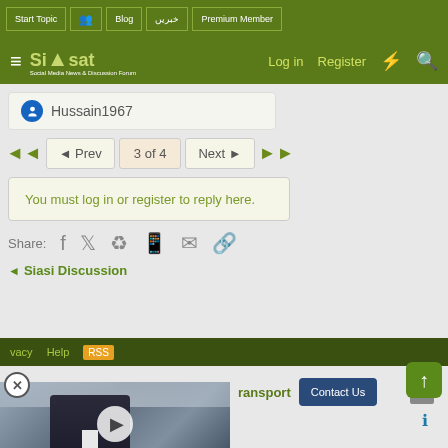Start Topic | Blog | خبریں | Premium Member
Siasat — Log in | Register
Hussain1967
◄ Prev | 3 of 4 | Next ►
You must log in or register to reply here.
Share:
Siasi Discussion
vacy  Help  [RSS]
[Figure (screenshot): Video thumbnail showing a man in a dark suit speaking at a podium, with a floral background. A white play button circle is visible in the center.]